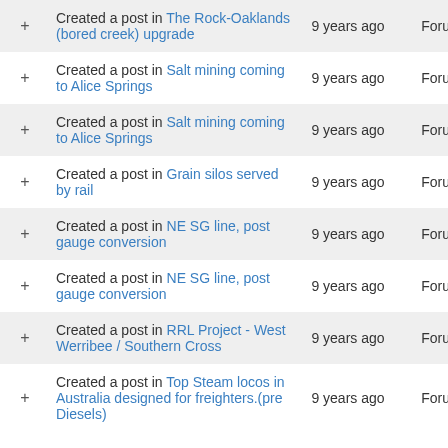|  | Activity | Time | Category |
| --- | --- | --- | --- |
| + | Created a post in The Rock-Oaklands (bored creek) upgrade | 9 years ago | Forums |
| + | Created a post in Salt mining coming to Alice Springs | 9 years ago | Forums |
| + | Created a post in Salt mining coming to Alice Springs | 9 years ago | Forums |
| + | Created a post in Grain silos served by rail | 9 years ago | Forums |
| + | Created a post in NE SG line, post gauge conversion | 9 years ago | Forums |
| + | Created a post in NE SG line, post gauge conversion | 9 years ago | Forums |
| + | Created a post in RRL Project - West Werribee / Southern Cross | 9 years ago | Forums |
| + | Created a post in Top Steam locos in Australia designed for freighters.(pre Diesels) | 9 years ago | Forums |